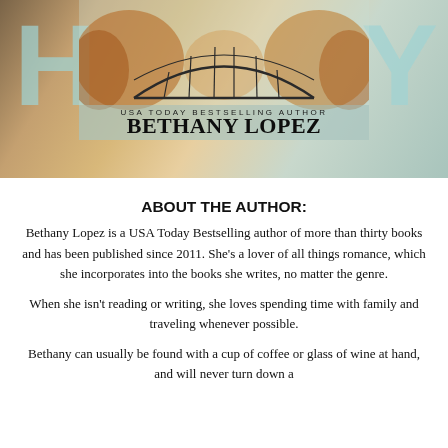[Figure (photo): Book cover image for a romance novel by Bethany Lopez, USA Today Bestselling Author. Shows a bridge over water with autumn trees, large decorative letters H and Y on either side.]
ABOUT THE AUTHOR:
Bethany Lopez is a USA Today Bestselling author of more than thirty books and has been published since 2011. She’s a lover of all things romance, which she incorporates into the books she writes, no matter the genre.
When she isn’t reading or writing, she loves spending time with family and traveling whenever possible.
Bethany can usually be found with a cup of coffee or glass of wine at hand, and will never turn down a